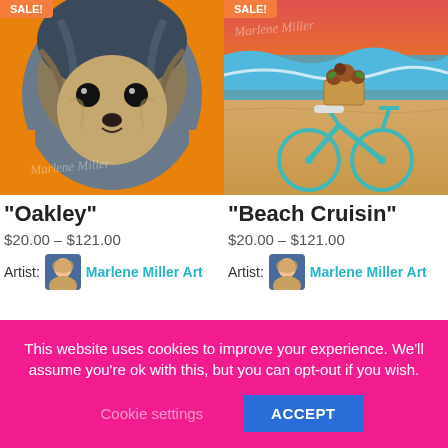[Figure (illustration): Painting of a scruffy dog (Oakley) with blue/grey fur and expressive eyes on an orange background, with artist watermark 'Marlene Miller' overlaid. Orange 'Sale!' badge in top left corner.]
[Figure (illustration): Painting of a teal beach cruiser bicycle with flowers in the basket on a sandy beach scene with ocean waves and colorful sunset sky. 'Marlene Miller' watermark overlaid. Orange 'Sale!' badge in top left corner.]
“Oakley”
“Beach Cruisin”
$20.00 – $121.00
$20.00 – $121.00
Artist: Marlene Miller Art
Artist: Marlene Miller Art
This website uses cookies to improve your experience. We’ll assume you’re ok with this, but you can opt-out if you wish.